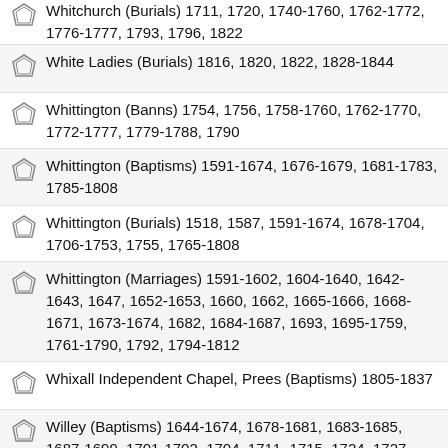Whitchurch (Burials) 1711, 1720, 1740-1760, 1762-1772, 1776-1777, 1793, 1796, 1822
White Ladies (Burials) 1816, 1820, 1822, 1828-1844
Whittington (Banns) 1754, 1756, 1758-1760, 1762-1770, 1772-1777, 1779-1788, 1790
Whittington (Baptisms) 1591-1674, 1676-1679, 1681-1783, 1785-1808
Whittington (Burials) 1518, 1587, 1591-1674, 1678-1704, 1706-1753, 1755, 1765-1808
Whittington (Marriages) 1591-1602, 1604-1640, 1642-1643, 1647, 1652-1653, 1660, 1662, 1665-1666, 1668-1671, 1673-1674, 1682, 1684-1687, 1693, 1695-1759, 1761-1790, 1792, 1794-1812
Whixall Independent Chapel, Prees (Baptisms) 1805-1837
Willey (Baptisms) 1644-1674, 1678-1681, 1683-1685, 1687-1699, 1701-1702, 1704, 1711, 1715, 1724, 1727-1737, 1739-1783, 1785-1812
Willey (Burials) 1664, 1666, 1668, 1671-1672, 1674…